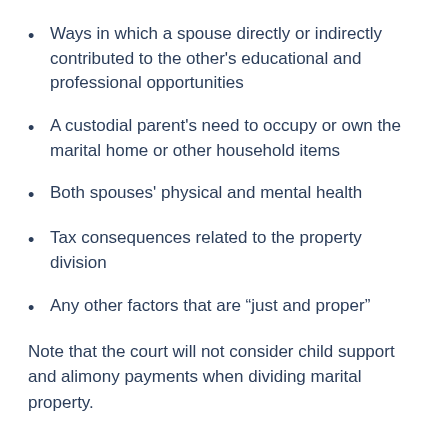Ways in which a spouse directly or indirectly contributed to the other's educational and professional opportunities
A custodial parent's need to occupy or own the marital home or other household items
Both spouses' physical and mental health
Tax consequences related to the property division
Any other factors that are “just and proper”
Note that the court will not consider child support and alimony payments when dividing marital property.